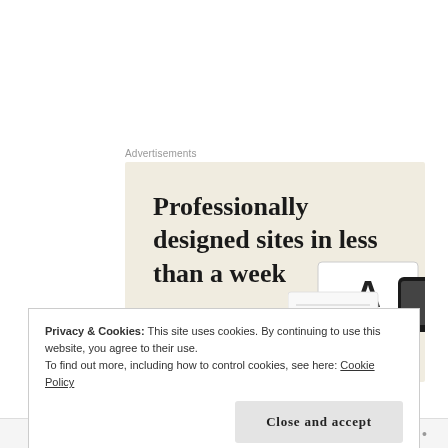Advertisements
[Figure (illustration): Advertisement banner with cream/beige background showing text 'Professionally designed sites in less than a week' with a green button and device mockup images on the right side.]
In the movie, Murphy talks about his fear that they made the choice to end the band for what seemed to
Privacy & Cookies: This site uses cookies. By continuing to use this website, you agree to their use.
To find out more, including how to control cookies, see here: Cookie Policy
Close and accept
Follow